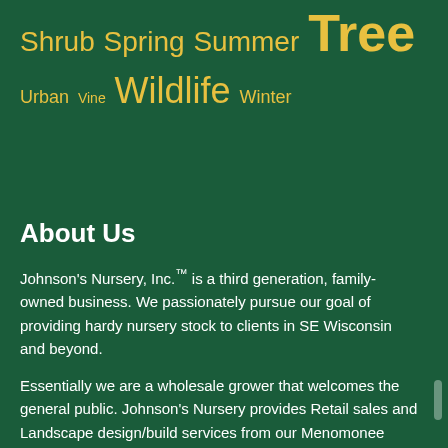Shrub Spring Summer Tree Urban Vine Wildlife Winter
About Us
Johnson's Nursery, Inc.™ is a third generation, family-owned business. We passionately pursue our goal of providing hardy nursery stock to clients in SE Wisconsin and beyond.
Essentially we are a wholesale grower that welcomes the general public. Johnson's Nursery provides Retail sales and Landscape design/build services from our Menomonee Falls headquarters. Our wholesale clientele of municipalities, landscape contractors, garden centers, and other nurseries can arrange to pick up material either in Menomonee Falls or our Jackson, WI Farm facilities and beyond.